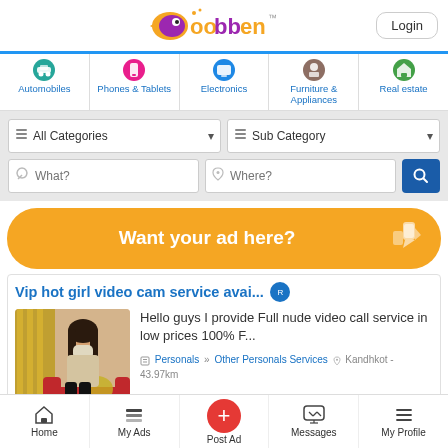oobben — Login
Automobiles | Phones & Tablets | Electronics | Furniture & Appliances | Real estate
All Categories — Sub Category — What? — Where?
Want your ad here?
Vip hot girl video cam service avai...
Hello guys I provide Full nude video call service in low prices 100% F...
Personals » Other Personals Services — Kandhkot - 43.97km
Home | My Ads | Post Ad | Messages | My Profile